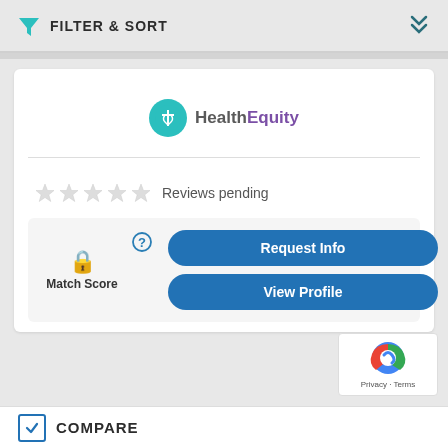FILTER & SORT
[Figure (logo): HealthEquity logo with teal medical caduceus circle icon]
Reviews pending
Match Score
Request Info
View Profile
COMPARE